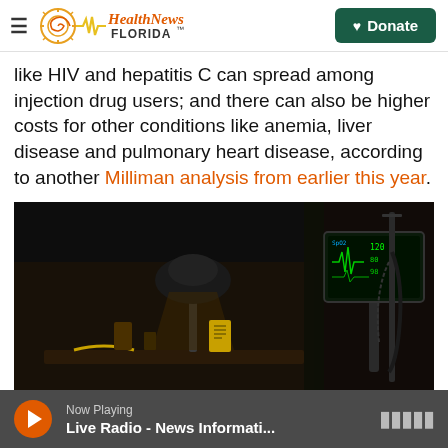Health News Florida — Donate
like HIV and hepatitis C can spread among injection drug users; and there can also be higher costs for other conditions like anemia, liver disease and pulmonary heart disease, according to another Milliman analysis from earlier this year.
[Figure (photo): Dark photo of a medical/clinical room showing a desk lamp and a medical monitor with vital signs displayed, in a dimly lit environment.]
Now Playing — Live Radio - News Informati...